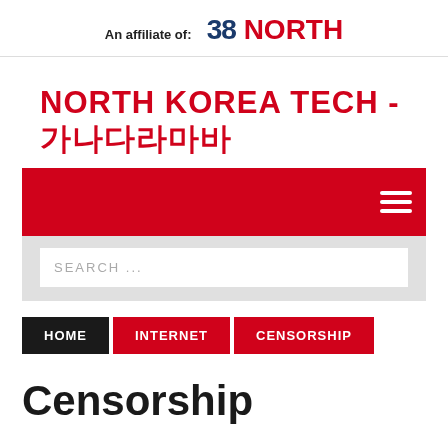An affiliate of: 38 NORTH
NORTH KOREA TECH - 노스코리아테크
[Figure (screenshot): Red navigation bar with hamburger menu icon on the right]
[Figure (screenshot): Search input field with placeholder text SEARCH ...]
HOME
INTERNET
CENSORSHIP
Censorship